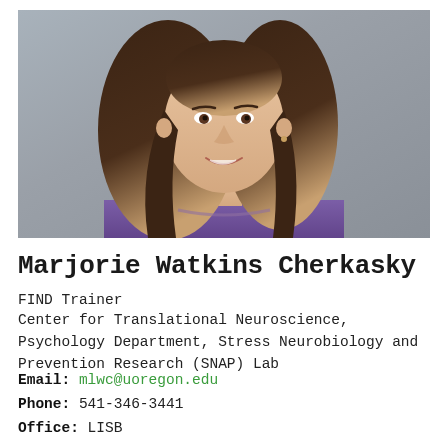[Figure (photo): Professional headshot of Marjorie Watkins Cherkasky, a woman with long dark brown hair, smiling, wearing a purple top, against a gray background.]
Marjorie Watkins Cherkasky
FIND Trainer
Center for Translational Neuroscience, Psychology Department, Stress Neurobiology and Prevention Research (SNAP) Lab
Email: mlwc@uoregon.edu
Phone: 541-346-3441
Office: LISB